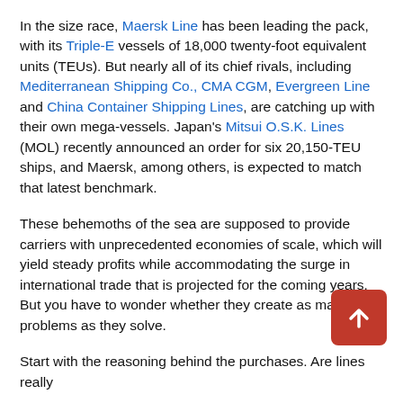In the size race, Maersk Line has been leading the pack, with its Triple-E vessels of 18,000 twenty-foot equivalent units (TEUs). But nearly all of its chief rivals, including Mediterranean Shipping Co., CMA CGM, Evergreen Line and China Container Shipping Lines, are catching up with their own mega-vessels. Japan's Mitsui O.S.K. Lines (MOL) recently announced an order for six 20,150-TEU ships, and Maersk, among others, is expected to match that latest benchmark.
These behemoths of the sea are supposed to provide carriers with unprecedented economies of scale, which will yield steady profits while accommodating the surge in international trade that is projected for the coming years. But you have to wonder whether they create as many problems as they solve.
Start with the reasoning behind the purchases. Are lines really